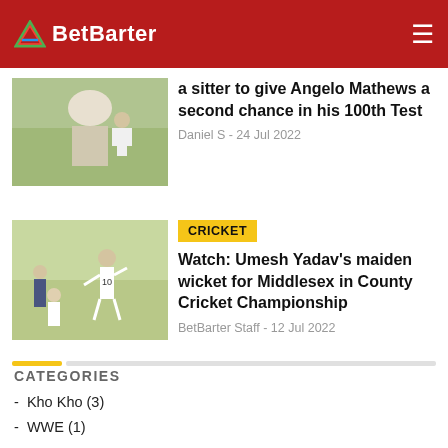BetBarter
a sitter to give Angelo Mathews a second chance in his 100th Test
Daniel S - 24 Jul 2022
CRICKET
Watch: Umesh Yadav's maiden wicket for Middlesex in County Cricket Championship
BetBarter Staff - 12 Jul 2022
CATEGORIES
- Kho Kho (3)
- WWE (1)